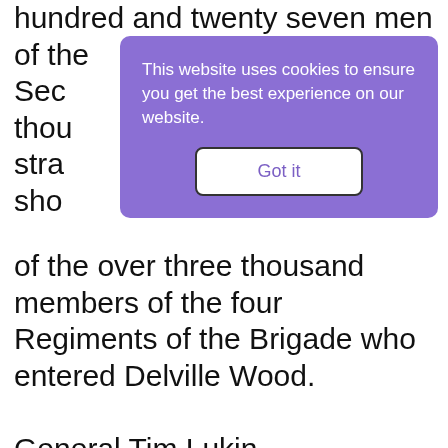hundred and twenty seven men of the Sec[ond] thou[sand] stra[ngers] sho[...g...] of the over three thousand members of the four Regiments of the Brigade who entered Delville Wood.
[Figure (screenshot): Cookie consent banner overlay with purple background, text 'This website uses cookies to ensure you get the best experience on our website.' and a 'Got it' button.]
General Tim Lukin endeavoured to address us but all he could emotionally utter was “My men – my men!” and broke down. I remember it as yesterday. We were given a mug of rum. I had never tasted liquor before